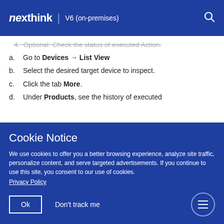nexthink | V6 (on-premises)
4. Optional: Check the status of executed Action.
a. Go to Devices → List View
b. Select the desired target device to inspect.
c. Click the tab More.
d. Under Products, see the history of executed
Cookie Notice
We use cookies to offer you a better browsing experience, analyze site traffic, personalize content, and serve targeted advertisements. If you continue to use this site, you consent to our use of cookies.
Privacy Policy